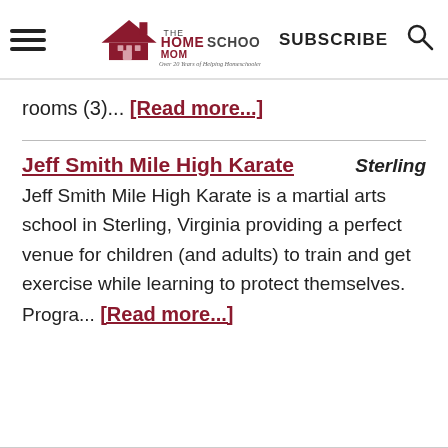THE HOMESCHOOL MOM — Over 20 Years of Helping Homeschoolers! | SUBSCRIBE
rooms (3)... [Read more...]
Jeff Smith Mile High Karate — Sterling
Jeff Smith Mile High Karate is a martial arts school in Sterling, Virginia providing a perfect venue for children (and adults) to train and get exercise while learning to protect themselves. Progra... [Read more...]